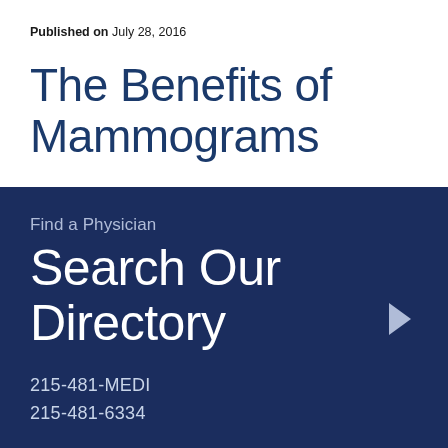Published on July 28, 2016
The Benefits of Mammograms
Find a Physician
Search Our Directory
215-481-MEDI
215-481-6334